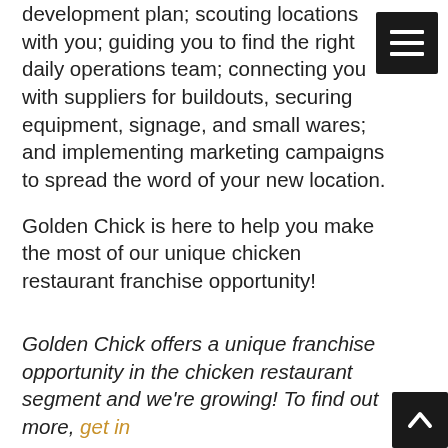development plan; scouting locations with you; guiding you to find the right daily operations team; connecting you with suppliers for buildouts, securing equipment, signage, and small wares; and implementing marketing campaigns to spread the word of your new location.
Golden Chick is here to help you make the most of our unique chicken restaurant franchise opportunity!
Golden Chick offers a unique franchise opportunity in the chicken restaurant segment and we're growing! To find out more, get in